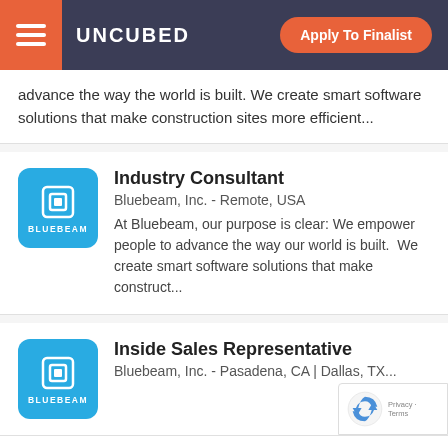UNCUBED | Apply To Finalist
advance the way the world is built. We create smart software solutions that make construction sites more efficient...
Industry Consultant
Bluebeam, Inc. - Remote, USA
At Bluebeam, our purpose is clear: We empower people to advance the way our world is built.  We create smart software solutions that make construct...
Inside Sales Representative
Bluebeam, Inc. - Pasadena, CA | Dallas, TX...